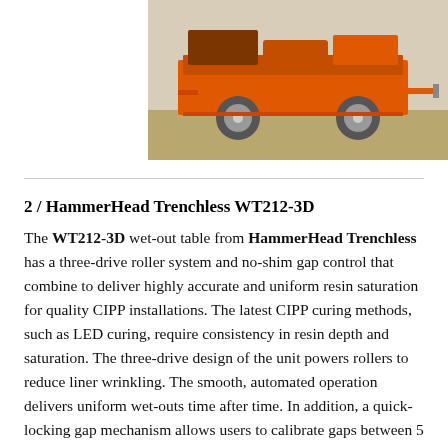[Figure (photo): Orange HammerHead Trenchless WT212-3D wet-out table on a trailer, photographed outdoors on grass/dirt ground. The equipment is orange-colored with large wheels visible.]
2 / HammerHead Trenchless WT212-3D
The WT212-3D wet-out table from HammerHead Trenchless has a three-drive roller system and no-shim gap control that combine to deliver highly accurate and uniform resin saturation for quality CIPP installations. The latest CIPP curing methods, such as LED curing, require consistency in resin depth and saturation. The three-drive design of the unit powers rollers to reduce liner wrinkling. The smooth, automated operation delivers uniform wet-outs time after time. In addition, a quick-locking gap mechanism allows users to calibrate gaps between 5